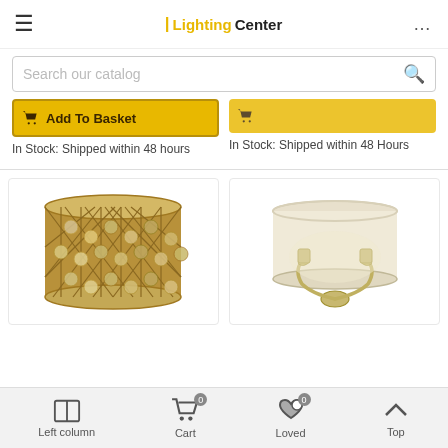Lighting Center
Search our catalog
Add To Basket
In Stock: Shipped within 48 hours
In Stock: Shipped within 48 Hours
[Figure (photo): Wall light with brass diamond lattice frame and crystal jewels]
[Figure (photo): Wall light with white drum shade and brass arms]
Left column   Cart 0   Loved 0   Top